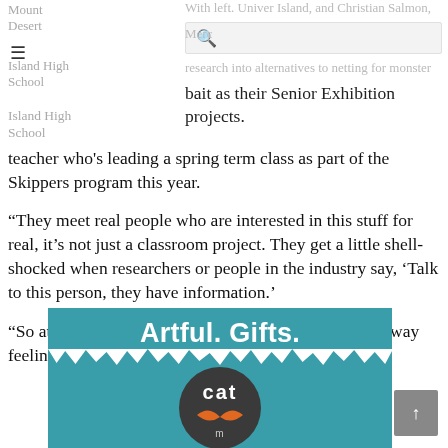Mount Desert Island High School teacher who's leading a spring term class as part of the Skippers program this year. | research into alternatives to netting for monster bait as their Senior Exhibition projects.
teacher who's leading a spring term class as part of the Skippers program this year.
“They meet real people who are interested in this stuff for real, it’s not just a classroom project. They get a little shell-shocked when researchers or people in the industry say, ‘Talk to this person, they have information.’
“So at first it’s scary for them, I think, but they come away feeling much more invested in their project.”
[Figure (advertisement): Ad for Artful. Gifts. featuring a cat logo on teal background with torn paper edge effect]